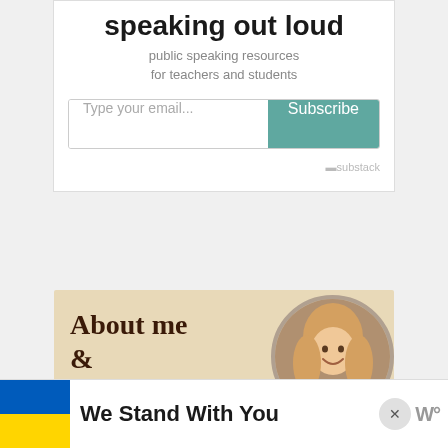speaking out loud
public speaking resources for teachers and students
[Figure (screenshot): Email subscription form with 'Type your email...' input and teal 'Subscribe' button, and Substack branding]
[Figure (illustration): About me section with handwritten-style text 'About me &' on a tan/beige background with a circular photo of a smiling blonde woman]
We Stand With You